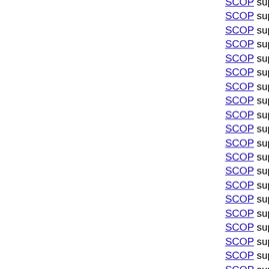SCOP superfamily RpbZ-like
SCOP superfamily SARS receptor-binding domain
SCOP superfamily FwdE-like
SCOP superfamily PUG domain-like
SCOP superfamily TTP0101/SSO1404-like
SCOP superfamily DOPA-like
SCOP superfamily Nqo5-like
SCOP superfamily Rv2632c-like
SCOP superfamily NAP-like
SCOP superfamily TTHA1013/TTHA0281-like
SCOP superfamily WGR domain-like
SCOP superfamily YktB/PF0168-like
SCOP superfamily EndoU-like
SCOP superfamily CAC2185-like
SCOP superfamily NadA-like
SCOP superfamily MFPT repeat-like
SCOP superfamily FimD N-terminal domain-like
SCOP superfamily At5g01610-like
SCOP superfamily PTSIIA/GutA-like
SCOP superfamily BH3618-like
SCOP superfamily GatD N-terminal domain-like
SCOP superfamily Kinase-associated protein B-like
SCOP superfamily Glu-tRNAGln amidotransferase
SCOP superfamily Hermes dimerisation domain